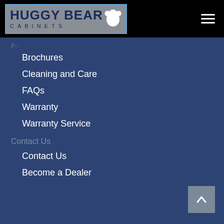[Figure (logo): Huggy Bear Cabinets logo on grey background with blue border, bear silhouette icon]
Brochures
Cleaning and Care
FAQs
Warranty
Warranty Service
Contact Us
Contact Us
Become a Dealer